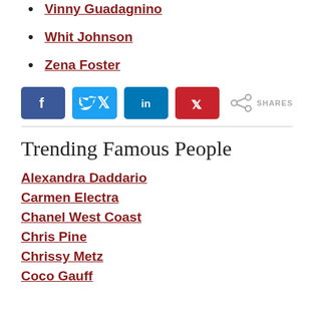Vinny Guadagnino
Whit Johnson
Zena Foster
[Figure (infographic): Social sharing buttons: Facebook, Twitter, LinkedIn, Pinterest, and a share icon followed by the text SHARES]
Trending Famous People
Alexandra Daddario
Carmen Electra
Chanel West Coast
Chris Pine
Chrissy Metz
Coco Gauff